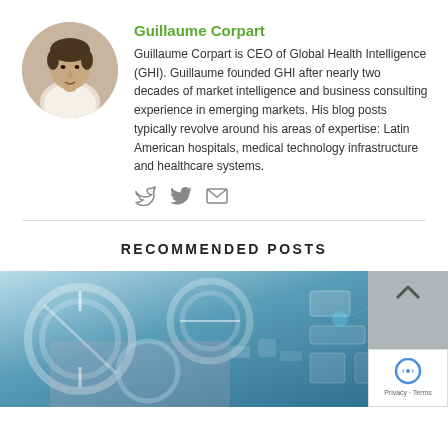[Figure (photo): Circular headshot photo of Guillaume Corpart, a man in a white shirt]
Guillaume Corpart
Guillaume Corpart is CEO of Global Health Intelligence (GHI). Guillaume founded GHI after nearly two decades of market intelligence and business consulting experience in emerging markets. His blog posts typically revolve around his areas of expertise: Latin American hospitals, medical technology infrastructure and healthcare systems.
[Figure (other): Social media icons: Twitter bird and envelope/email icon]
RECOMMENDED POSTS
[Figure (photo): Healthcare/medical technology themed banner image with circular gauges and digital elements in blue and teal tones]